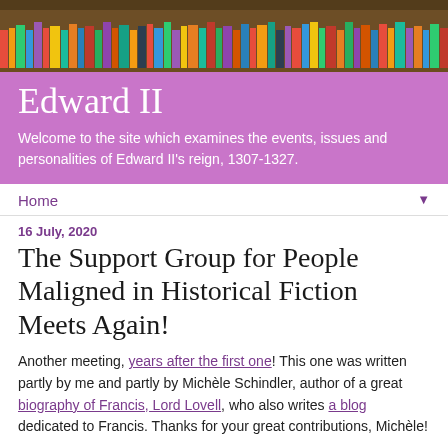[Figure (photo): Bookshelf with colorful books arranged in rows, serving as page header background image]
Edward II
Welcome to the site which examines the events, issues and personalities of Edward II's reign, 1307-1327.
Home ▼
16 July, 2020
The Support Group for People Maligned in Historical Fiction Meets Again!
Another meeting, years after the first one! This one was written partly by me and partly by Michèle Schindler, author of a great biography of Francis, Lord Lovell, who also writes a blog dedicated to Francis. Thanks for your great contributions, Michèle!
*
Edward II: Welcome to the latest meeting of the Support Group fo...